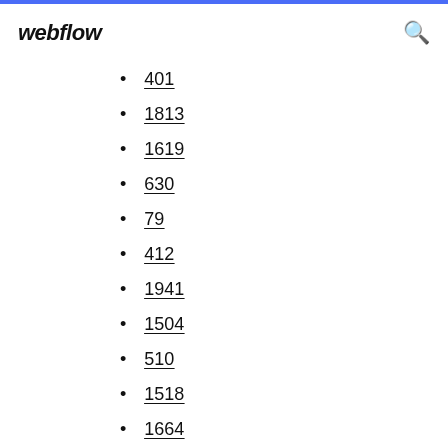webflow
401
1813
1619
630
79
412
1941
1504
510
1518
1664
1249